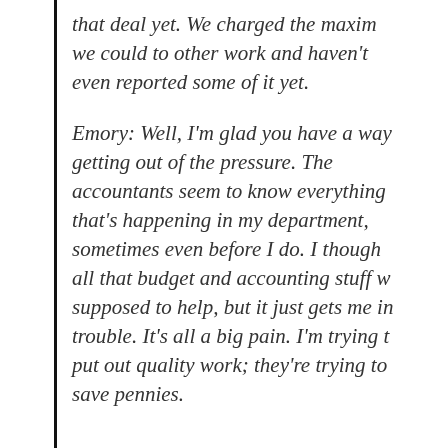that deal yet. We charged the maximum we could to other work and haven't even reported some of it yet.
Emory: Well, I'm glad you have a way getting out of the pressure. The accountants seem to know everything that's happening in my department, sometimes even before I do. I thought all that budget and accounting stuff was supposed to help, but it just gets me in trouble. It's all a big pain. I'm trying to put out quality work; they're trying to save pennies.